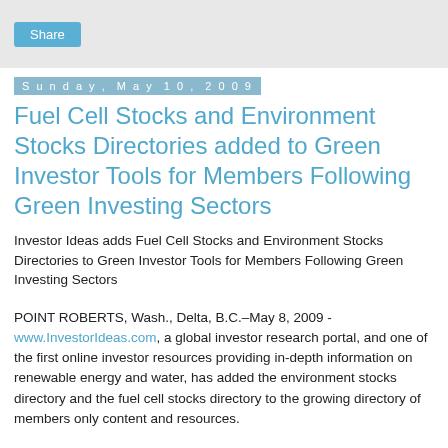Share
Sunday, May 10, 2009
Fuel Cell Stocks and Environment Stocks Directories added to Green Investor Tools for Members Following Green Investing Sectors
Investor Ideas adds Fuel Cell Stocks and Environment Stocks Directories to Green Investor Tools for Members Following Green Investing Sectors
POINT ROBERTS, Wash., Delta, B.C.–May 8, 2009 - www.InvestorIdeas.com, a global investor research portal, and one of the first online investor resources providing in-depth information on renewable energy and water, has added the environment stocks directory and the fuel cell stocks directory to the growing directory of members only content and resources.